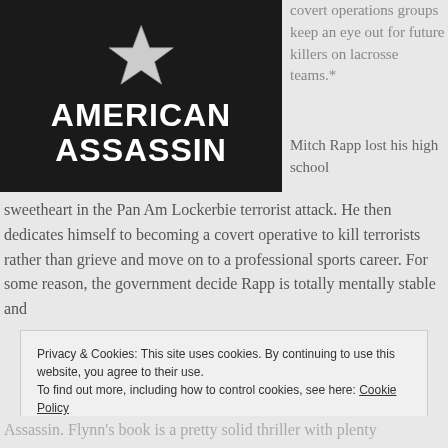[Figure (photo): Book cover of 'American Assassin' with dark background, a star graphic at top, and bold white text showing 'AMERICAN ASSASSIN']
covert operations groups keep an eye out for future killers on lacrosse teams.*
Mitch Rapp lost his high school sweetheart in the Pan Am Lockerbie terrorist attack. He then dedicates himself to becoming a covert operative to kill terrorists rather than grieve and move on to a professional sports career. For some reason, the government decide Rapp is totally mentally stable and
Privacy & Cookies: This site uses cookies. By continuing to use this website, you agree to their use.
To find out more, including how to control cookies, see here: Cookie Policy
Close and accept
Assassin. Flynn's book is a pretty solid thriller with plenty